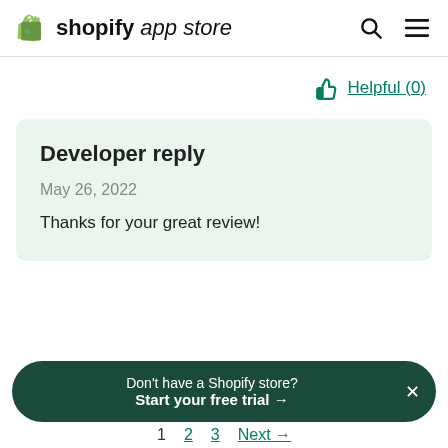shopify app store
Helpful (0)
Developer reply
May 26, 2022
Thanks for your great review!
Don't have a Shopify store? Start your free trial →
1  2  3  Next →